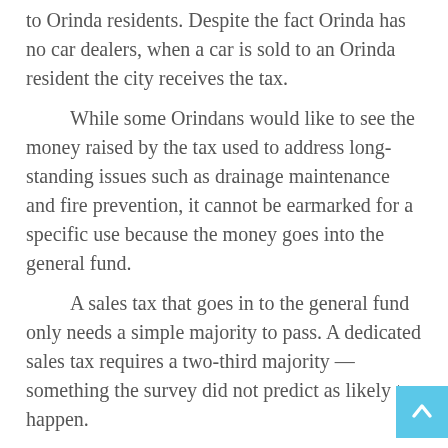to Orinda residents. Despite the fact Orinda has no car dealers, when a car is sold to an Orinda resident the city receives the tax.
    While some Orindans would like to see the money raised by the tax used to address long-standing issues such as drainage maintenance and fire prevention, it cannot be earmarked for a specific use because the money goes into the general fund.
    A sales tax that goes in to the general fund only needs a simple majority to pass. A dedicated sales tax requires a two-third majority — something the survey did not predict as likely to happen.
    However, that doesn't mean a citizen's oversight committee couldn't be established to keep an eye on what's done with the money.
"If the council doesn't do what they pledge to do with the money people will get after them — especially in Orinda.